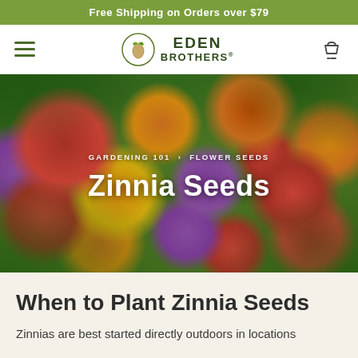Free Shipping on Orders over $79
[Figure (logo): Eden Brothers seed company logo with stylized seed/leaf icon and text EDEN BROTHERS®]
[Figure (photo): Colorful zinnia flowers in red, orange, yellow, pink, and purple filling the frame as a hero banner image]
GARDENING 101 › FLOWER SEEDS
Zinnia Seeds
When to Plant Zinnia Seeds
Zinnias are best started directly outdoors in locations